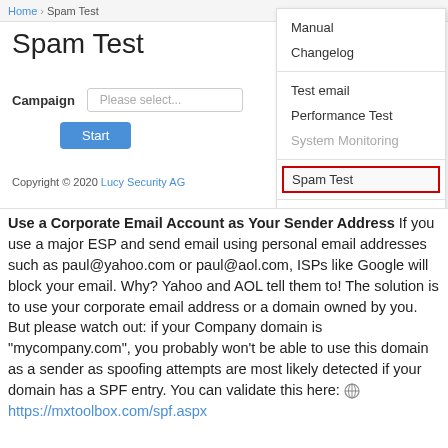[Figure (screenshot): Screenshot of a web application showing a 'Spam Test' page with a Campaign field, Start button, and a copyright footer. A dropdown menu is open on the right side showing menu items: Manual, Changelog, Test email, Performance Test, System Monitoring, Spam Test (highlighted in red box), Backups.]
Use a Corporate Email Account as Your Sender Address If you use a major ESP and send email using personal email addresses such as paul@yahoo.com or paul@aol.com, ISPs like Google will block your email. Why? Yahoo and AOL tell them to! The solution is to use your corporate email address or a domain owned by you. But please watch out: if your Company domain is "mycompany.com", you probably won't be able to use this domain as a sender as spoofing attempts are most likely detected if your domain has a SPF entry. You can validate this here: https://mxtoolbox.com/spf.aspx